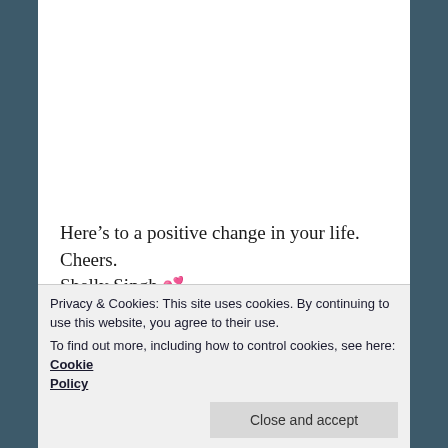Here’s to a positive change in your life. Cheers.
Shelly Singh 💕
#Fengshuitips #Fengshuimagic #Powerofpositivethinking #Shellysingh #BloomingMushroomInternationalFengShui
Privacy & Cookies: This site uses cookies. By continuing to use this website, you agree to their use.
To find out more, including how to control cookies, see here: Cookie Policy